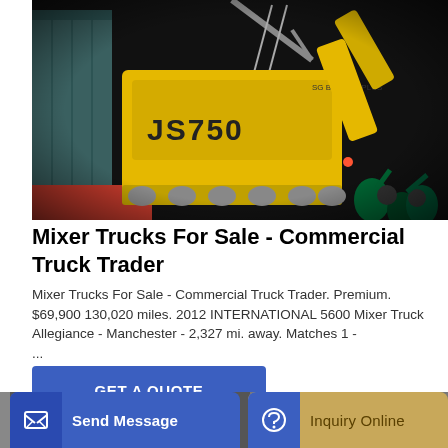[Figure (photo): A yellow construction excavator/mixer labeled JS750 being loaded into a large shipping container at night, with workers visible below.]
Mixer Trucks For Sale - Commercial Truck Trader
Mixer Trucks For Sale - Commercial Truck Trader. Premium. $69,900 130,020 miles. 2012 INTERNATIONAL 5600 Mixer Truck Allegiance - Manchester - 2,327 mi. away. Matches 1 - ...
GET A QUOTE
Send Message
Inquiry Online